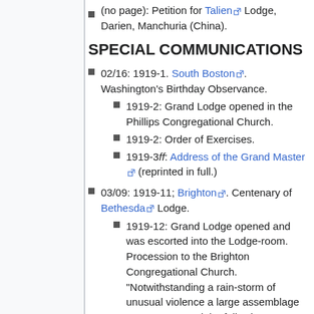(no page): Petition for Talien Lodge, Darien, Manchuria (China).
SPECIAL COMMUNICATIONS
02/16: 1919-1. South Boston. Washington's Birthday Observance.
1919-2: Grand Lodge opened in the Phillips Congregational Church.
1919-2: Order of Exercises.
1919-3ff: Address of the Grand Master (reprinted in full.)
03/09: 1919-11; Brighton. Centenary of Bethesda Lodge.
1919-12: Grand Lodge opened and was escorted into the Lodge-room. Procession to the Brighton Congregational Church. "Notwithstanding a rain-storm of unusual violence a large assemblage was present and the following program was carried out."
1919-13: Order of Exercises.
1919-13ff: Sermon by Wor. and Rev.